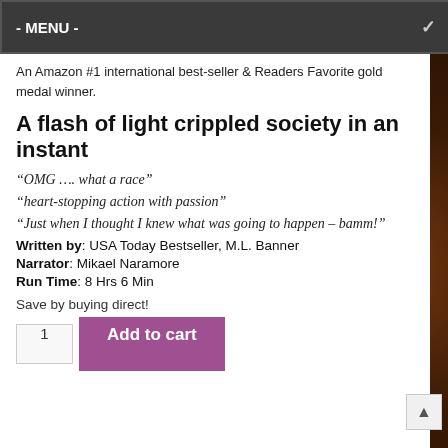- MENU -
An Amazon #1 international best-seller & Readers Favorite gold medal winner.
A flash of light crippled society in an instant
“OMG …. what a race”
“heart-stopping action with passion”
“Just when I thought I knew what was going to happen – bamm!”
Written by: USA Today Bestseller, M.L. Banner
Narrator: Mikael Naramore
Run Time: 8 Hrs 6 Min
Save by buying direct!